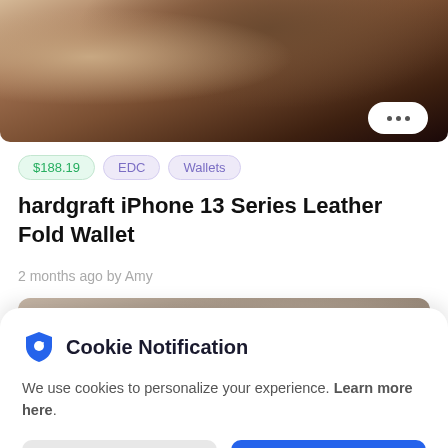[Figure (photo): Close-up photo of a brown leather wallet on wooden surface]
$188.19  EDC  Wallets
hardgraft iPhone 13 Series Leather Fold Wallet
2 months ago by Amy
[Figure (photo): Partial photo of another product, mostly cropped]
Cookie Notification
We use cookies to personalize your experience. Learn more here.
I Don't Accept
I Accept